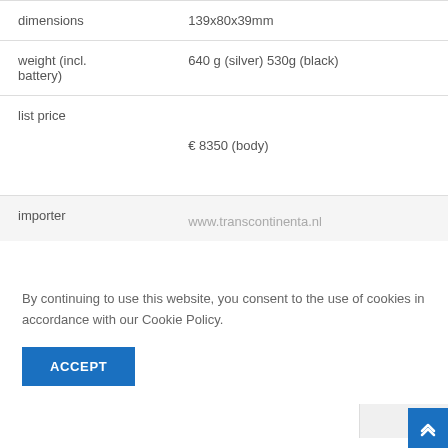| property | value |
| --- | --- |
| dimensions | 139x80x39mm |
| weight (incl. battery) | 640 g (silver) 530g (black) |
| list price | € 8350 (body) |
| importer | www.transcontinenta.nl |
By continuing to use this website, you consent to the use of cookies in accordance with our Cookie Policy.
ACCEPT